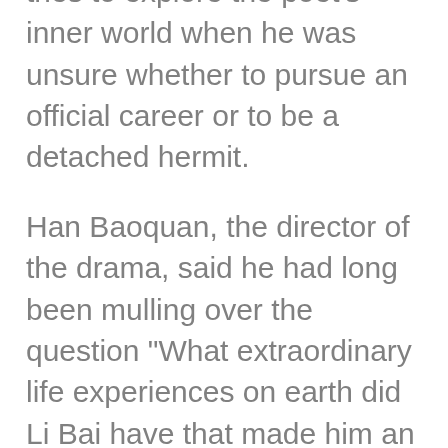drama, comprising five themes highlighting Li's life, tries to explore the poet's inner world when he was unsure whether to pursue an official career or to be a detached hermit.
Han Baoquan, the director of the drama, said he had long been mulling over the question "What extraordinary life experiences on earth did Li Bai have that made him an immortal poet?" and it was this question that led to the creation of this drama.
"I want to cast aside all the praise he enjoys and recreate a Li Bai who is flesh and blood. He is a man struggling between sense and sensibility, aspiring to be a standout in officialdom as well as entertaining the desire to retire from it. On the one hand, he is a nonconformist rapt with wine and poetry," Han said in an interview.
"On the other, he has to conform to what